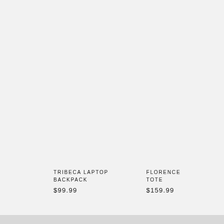TRIBECA LAPTOP BACKPACK
$99.99
FLORENCE TOTE
$159.99